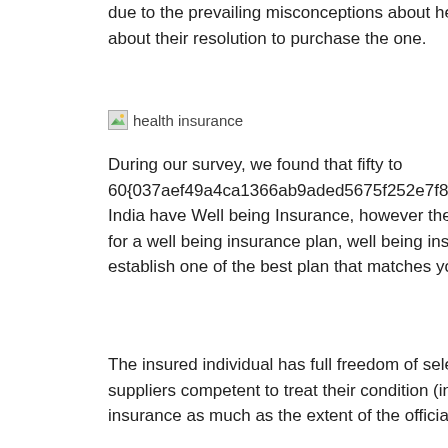due to the prevailing misconceptions about health insurance, they go away individuals typically, apprehensive about their resolution to purchase the one.
[Figure (photo): health insurance image placeholder]
During our survey, we found that fifty to 60{037aef49a4ca1366ab9aded5675f252e7f852a6556e9ca9d2bf74969867d7f92} of working class population in India have Well being Insurance, however there are only a few who can comprehend its worth. If you store around for a well being insurance plan, well being insurance coverage quotes can assist narrow down your options and establish one of the best plan that matches your medical necessities and price range.
The insured individual has full freedom of selection among the many approximately 60 recognised healthcare suppliers competent to treat their condition (in his area) on the understanding that the prices are coated by the insurance as much as the extent of the official tariff.
[Figure (photo): health insurance image placeholder]
In few circumstances, it's possible you'll discover such plans to be costly but they will provide help to to evade greater financial dangers in addition to offer you the freedom to go for